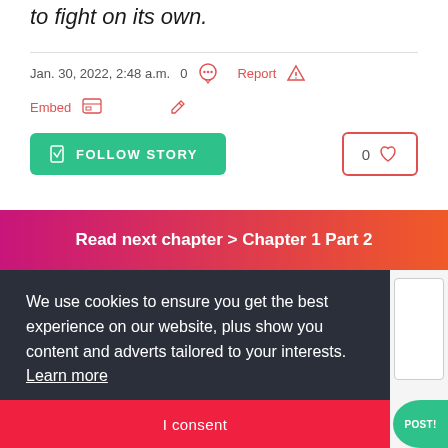to fight on its own.
Jan. 30, 2022, 2:48 a.m.  0  [chat icon]  Report  [warning icon]
Embed  [embed icon]  [pencil icon]
FOLLOW STORY
0 [heart]
Read next chapter > Chapter 1 Part 2
We use cookies to ensure you get the best experience on our website, plus show you content and adverts tailored to your interests.  Learn more
I consent